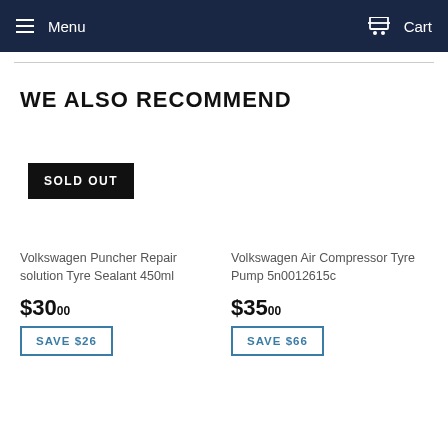Menu  Cart
WE ALSO RECOMMEND
SOLD OUT
Volkswagen Puncher Repair solution Tyre Sealant 450ml
$30.00
SAVE $26
Volkswagen Air Compressor Tyre Pump 5n0012615c
$35.00
SAVE $66